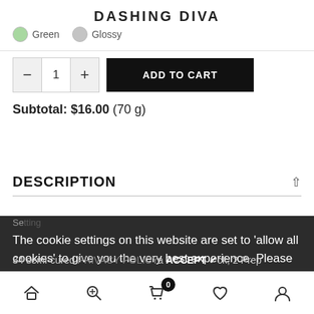DASHING DIVA
Green   Glossy
ADD TO CART  1
Subtotal: $16.00 (70 g)
DESCRIPTION
The cookie settings on this website are set to 'allow all cookies' to give you the very best experience. Please click Accept Cookies to continue to use the site.
34 semi-cured PRIVACY POLICY a ACCEPT ck, 2 Prep
Home  Search  Cart (0)  Wishlist  Account